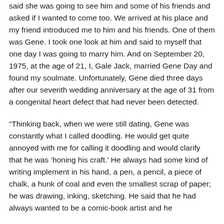said she was going to see him and some of his friends and asked if I wanted to come too. We arrived at his place and my friend introduced me to him and his friends. One of them was Gene. I took one look at him and said to myself that one day I was going to marry him. And on September 20, 1975, at the age of 21, I, Gale Jack, married Gene Day and found my soulmate. Unfortunately, Gene died three days after our seventh wedding anniversary at the age of 31 from a congenital heart defect that had never been detected.
“Thinking back, when we were still dating, Gene was constantly what I called doodling. He would get quite annoyed with me for calling it doodling and would clarify that he was ‘honing his craft.’ He always had some kind of writing implement in his hand, a pen, a pencil, a piece of chalk, a hunk of coal and even the smallest scrap of paper; he was drawing, inking, sketching. He said that he had always wanted to be a comic-book artist and he